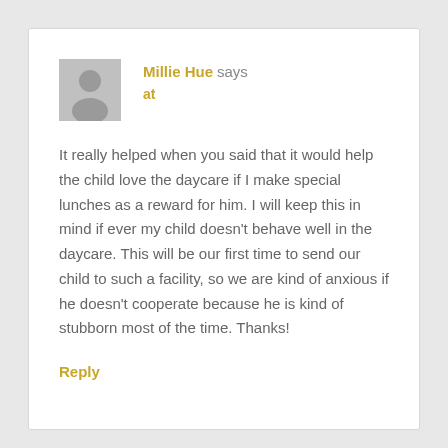[Figure (illustration): Gray placeholder avatar icon with a silhouette of a person]
Millie Hue says
at
It really helped when you said that it would help the child love the daycare if I make special lunches as a reward for him. I will keep this in mind if ever my child doesn't behave well in the daycare. This will be our first time to send our child to such a facility, so we are kind of anxious if he doesn't cooperate because he is kind of stubborn most of the time. Thanks!
Reply